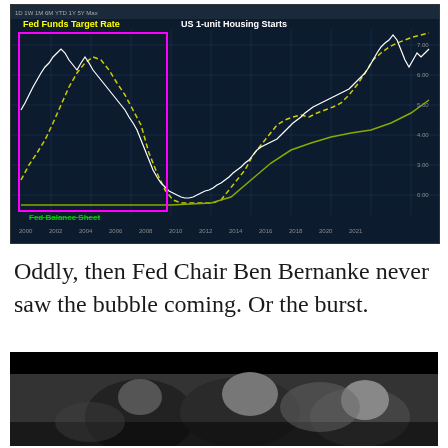[Figure (line-chart): Bloomberg terminal chart showing Fed Funds Target Rate (yellow dashed line), Fed Balance Sheet (green line), and US 1-unit Housing Starts (white line) from approximately 2000 to 2021. A magenta rectangle highlights the period roughly 2000-2006. Labels: 'Fed Funds Target Rate' in yellow, 'US 1-unit Housing Starts' in white, 'Fed Balance Sheet' in green with strikethrough.]
Oddly, then Fed Chair Ben Bernanke never saw the bubble coming. Or the burst.
[Figure (photo): Black and white photograph of people, appears to show individuals leaning together, blurred figures in foreground and background.]